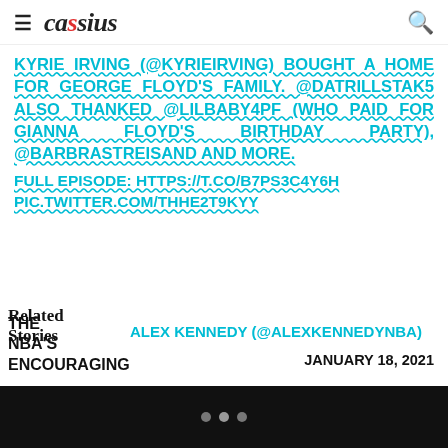cassius
KYRIE IRVING (@KYRIEIRVING) BOUGHT A HOME FOR GEORGE FLOYD'S FAMILY. @DATRILLSTAK5 ALSO THANKED @LILBABY4PF (WHO PAID FOR GIANNA FLOYD'S BIRTHDAY PARTY), @BARBRASTREISAND AND MORE.
FULL EPISODE: HTTPS://T.CO/B7PS3C4Y6H
PIC.TWITTER.COM/THHE2T9KYY
Related Stories
THE NBA'S ENCOURAGING
ALEX KENNEDY (@ALEXKENNEDYNBA)
JANUARY 18, 2021